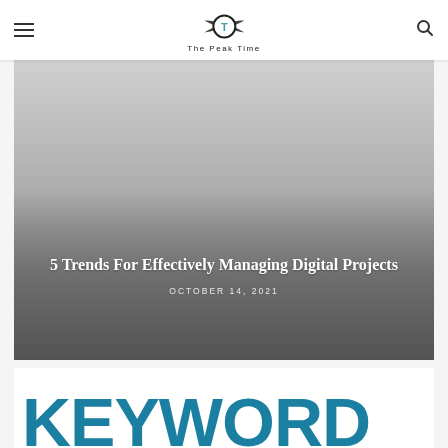The Peak Time
[Figure (photo): Hero image with gradient overlay showing article title '5 Trends For Effectively Managing Digital Projects' dated October 14, 2021]
5 Trends For Effectively Managing Digital Projects
OCTOBER 14, 2021
[Figure (photo): Partial view of the word 'KEYWORD' in large teal/blue bold text]